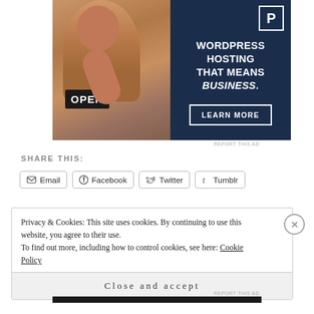[Figure (infographic): Advertisement banner: left side shows photo of a smiling woman holding an 'OPEN' sign, right side is dark navy blue with 'P' logo and text 'WORDPRESS HOSTING THAT MEANS BUSINESS.' and a 'LEARN MORE' button]
REPORT THIS AD
SHARE THIS:
Email  Facebook  Twitter  Tumblr
Privacy & Cookies: This site uses cookies. By continuing to use this website, you agree to their use.
To find out more, including how to control cookies, see here: Cookie Policy
Close and accept
REPORT THIS AD